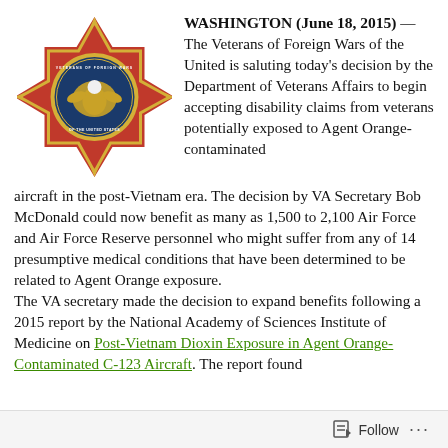[Figure (logo): Veterans of Foreign Wars of the United States emblem/badge — a red and gold cross with an eagle medallion in the center, surrounded by the text 'VETERANS OF FOREIGN WARS OF THE UNITED STATES']
WASHINGTON (June 18, 2015) — The Veterans of Foreign Wars of the United is saluting today's decision by the Department of Veterans Affairs to begin accepting disability claims from veterans potentially exposed to Agent Orange-contaminated aircraft in the post-Vietnam era. The decision by VA Secretary Bob McDonald could now benefit as many as 1,500 to 2,100 Air Force and Air Force Reserve personnel who might suffer from any of 14 presumptive medical conditions that have been determined to be related to Agent Orange exposure. The VA secretary made the decision to expand benefits following a 2015 report by the National Academy of Sciences Institute of Medicine on Post-Vietnam Dioxin Exposure in Agent Orange-Contaminated C-123 Aircraft. The report found
Follow ···